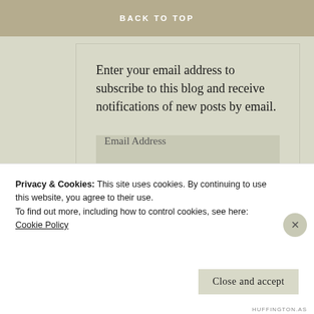BACK TO TOP
Enter your email address to subscribe to this blog and receive notifications of new posts by email.
Email Address
SUBSCRIBE
Join 438 other followers
Privacy & Cookies: This site uses cookies. By continuing to use this website, you agree to their use.
To find out more, including how to control cookies, see here: Cookie Policy
Close and accept